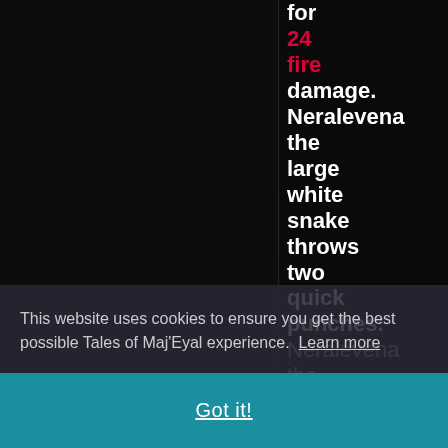for 24 fire damage. Neralevena the large white snake throws two quick punches. Neralevena the large white snake hits Demonetka for 25
This website uses cookies to ensure you get the best possible Tales of Maj'Eyal experience. Learn more
Got it!